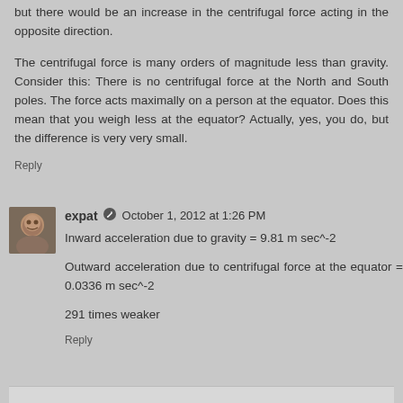but there would be an increase in the centrifugal force acting in the opposite direction.
The centrifugal force is many orders of magnitude less than gravity. Consider this: There is no centrifugal force at the North and South poles. The force acts maximally on a person at the equator. Does this mean that you weigh less at the equator? Actually, yes, you do, but the difference is very very small.
Reply
expat  October 1, 2012 at 1:26 PM
Inward acceleration due to gravity = 9.81 m sec^-2
Outward acceleration due to centrifugal force at the equator = 0.0336 m sec^-2
291 times weaker
Reply